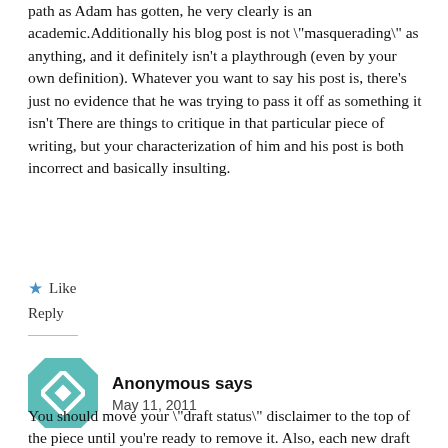path as Adam has gotten, he very clearly is an academic.Additionally his blog post is not \"masquerading\" as anything, and it definitely isn't a playthrough (even by your own definition). Whatever you want to say his post is, there's just no evidence that he was trying to pass it off as something it isn't There are things to critique in that particular piece of writing, but your characterization of him and his post is both incorrect and basically insulting.
★ Like
Reply
Anonymous says
May 11, 2011
You should move your \"draft status\" disclaimer to the top of the piece until you're ready to remove it. Also, each new draft should be published as a new post. At